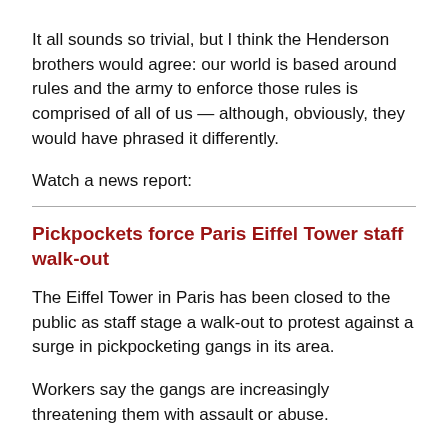It all sounds so trivial, but I think the Henderson brothers would agree: our world is based around rules and the army to enforce those rules is comprised of all of us — although, obviously, they would have phrased it differently.
Watch a news report:
Pickpockets force Paris Eiffel Tower staff walk-out
The Eiffel Tower in Paris has been closed to the public as staff stage a walk-out to protest against a surge in pickpocketing gangs in its area.
Workers say the gangs are increasingly threatening them with assault or abuse.